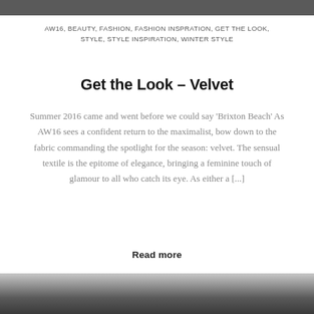[Figure (photo): Top partial photo strip, dark/grey tones]
AW16, BEAUTY, FASHION, FASHION INSPRATION, GET THE LOOK, STYLE, STYLE INSPIRATION, WINTER STYLE
Get the Look – Velvet
Summer 2016 came and went before we could say 'Brixton Beach' As AW16 sees a confident return to the maximalist, bow down to the fabric commanding the spotlight for the season: velvet. The sensual textile is the epitome of elegance, bringing a feminine touch of glamour to all who catch its eye. As either a [...]
Read more
[Figure (photo): Bottom partial photo of person in dark clothing]